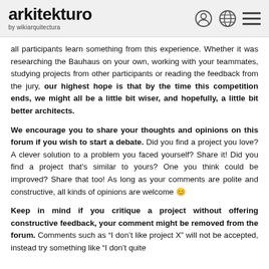arkitekturo by wikiarquitectura
all participants learn something from this experience. Whether it was researching the Bauhaus on your own, working with your teammates, studying projects from other participants or reading the feedback from the jury, our highest hope is that by the time this competition ends, we might all be a little bit wiser, and hopefully, a little bit better architects.
We encourage you to share your thoughts and opinions on this forum if you wish to start a debate. Did you find a project you love? A clever solution to a problem you faced yourself? Share it! Did you find a project that's similar to yours? One you think could be improved? Share that too! As long as your comments are polite and constructive, all kinds of opinions are welcome 😊
Keep in mind if you critique a project without offering constructive feedback, your comment might be removed from the forum. Comments such as "I don't like project X" will not be accepted, instead try something like "I don't quite